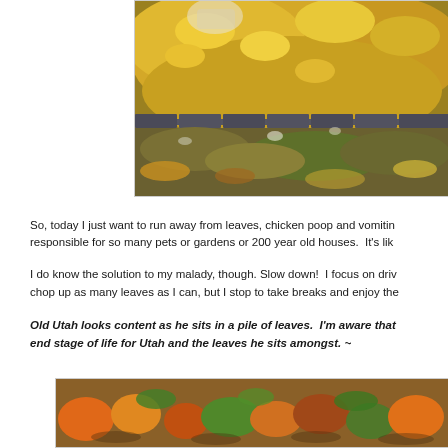[Figure (photo): Photo of fallen yellow and brown leaves piled on wooden fence/steps, viewed from above]
So, today I just want to run away from leaves, chicken poop and vomitin... responsible for so many pets or gardens or 200 year old houses.  It's lik...
I do know the solution to my malady, though. Slow down!  I focus on driv... chop up as many leaves as I can, but I stop to take breaks and enjoy the...
Old Utah looks content as he sits in a pile of leaves.  I'm aware that... end stage of life for Utah and the leaves he sits amongst. ~
[Figure (photo): Photo of colorful autumn items, possibly vegetables or gourds with leaves]